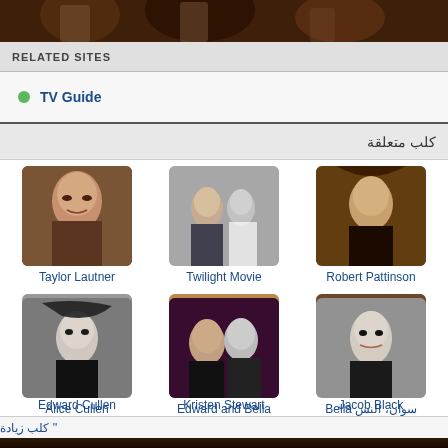[Figure (photo): Dark cinematic banner photo at top]
RELATED SITES
TV Guide
كلب متعلقة
[Figure (photo): Taylor Lautner photo]
Taylor Lautner
[Figure (photo): Twilight Movie photo]
Twilight Movie
[Figure (photo): Robert Pattinson photo]
Robert Pattinson
[Figure (photo): Edward Cullen photo]
Edward Cullen
[Figure (photo): Kristen Stewart photo]
Kristen Stewart
[Figure (photo): Jacob Black photo]
Jacob Black
[Figure (photo): Alice Cullen photo]
Alice Cullen
[Figure (photo): Edward and Bella photo]
Edward and Bella
[Figure (photo): Bella Swan photo]
Bella سوان، النس
>> كلب زيادة